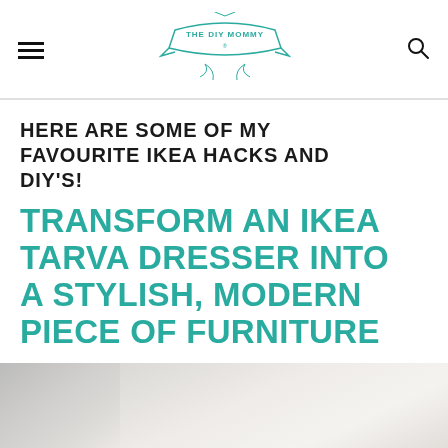THE DIY MOMMY
HERE ARE SOME OF MY FAVOURITE IKEA HACKS AND DIY'S!
TRANSFORM AN IKEA TARVA DRESSER INTO A STYLISH, MODERN PIECE OF FURNITURE
[Figure (photo): Partial view of a dresser or furniture piece, light grey/white background]